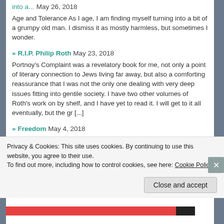into a... May 26, 2018
Age and Tolerance As I age, I am finding myself turning into a bit of a grumpy old man. I dismiss it as mostly harmless, but sometimes I wonder.
» R.I.P. Philip Roth May 23, 2018
Portnoy's Complaint was a revelatory book for me, not only a point of literary connection to Jews living far away, but also a comforting reassurance that I was not the only one dealing with very deep issues fitting into gentile society. I have two other volumes of Roth's work on by shelf, and I have yet to read it. I will get to it all eventually, but the gr [...]
» Freedom May 4, 2018
For most of the Ancients, freedom was freedom from our natural desires and material needs. It rested on a mastery of these deep, natural urges in favor of self-control, restraint, and education into virtue. Andrew
Privacy & Cookies: This site uses cookies. By continuing to use this website, you agree to their use.
To find out more, including how to control cookies, see here: Cookie Policy
Close and accept